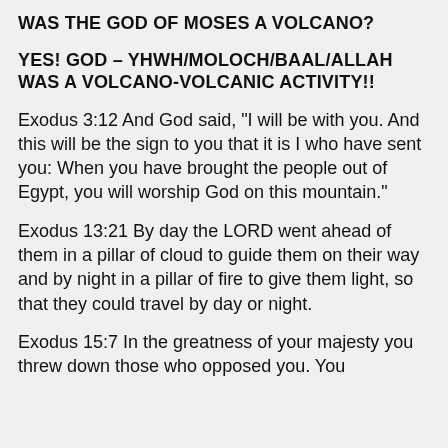WAS THE GOD OF MOSES A VOLCANO?
YES! GOD – YHWH/MOLOCH/BAAL/ALLAH WAS A VOLCANO-VOLCANIC ACTIVITY!!
Exodus 3:12 And God said, "I will be with you. And this will be the sign to you that it is I who have sent you: When you have brought the people out of Egypt, you will worship God on this mountain."
Exodus 13:21 By day the LORD went ahead of them in a pillar of cloud to guide them on their way and by night in a pillar of fire to give them light, so that they could travel by day or night.
Exodus 15:7 In the greatness of your majesty you threw down those who opposed you. You